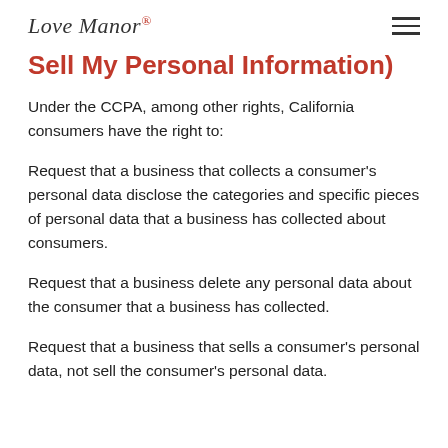Love Manor
Sell My Personal Information)
Under the CCPA, among other rights, California consumers have the right to:
Request that a business that collects a consumer's personal data disclose the categories and specific pieces of personal data that a business has collected about consumers.
Request that a business delete any personal data about the consumer that a business has collected.
Request that a business that sells a consumer's personal data, not sell the consumer's personal data.